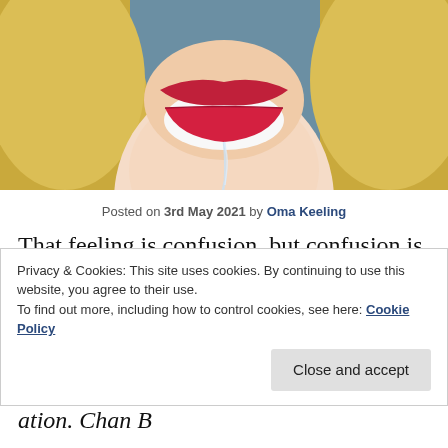[Figure (illustration): Close-up illustration of a face showing lips with red lipstick and blonde hair, blue background, partially cropped at top of page]
Posted on 3rd May 2021 by Oma Keeling
That feeling is confusion, but confusion is often a key emotion when reflecting with artworks, it's not a necessary one but it's the one that holds you in the 'what is going on?' as you encounter art, which is part of the collection of feelings of
Privacy & Cookies: This site uses cookies. By continuing to use this website, you agree to their use.
To find out more, including how to control cookies, see here: Cookie Policy
Close and accept